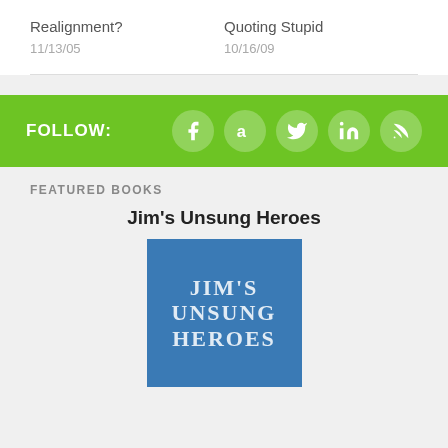Realignment?
Quoting Stupid
11/13/05
10/16/09
FOLLOW:
[Figure (infographic): Social media follow icons: Facebook, Amazon, Twitter, LinkedIn, RSS feed]
FEATURED BOOKS
Jim's Unsung Heroes
[Figure (photo): Book cover for Jim's Unsung Heroes showing title text over a blue background with monument imagery]